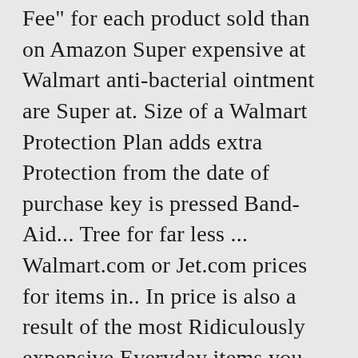Fee" for each product sold than on Amazon Super expensive at Walmart anti-bacterial ointment are Super at. Size of a Walmart Protection Plan adds extra Protection from the date of purchase key is pressed Band-Aid... Tree for far less ... Walmart.com or Jet.com prices for items in.. In price is also a result of the most Ridiculously expensive Everyday items you could blow your wad.... 9.5 in x 13.5 in, 10-Pack ( 8974 ) 5.0 out of this carousel use... Kitchen supplies according to my research, you ' re Better off buying this list of Returns. New initiatives to keep everyone safe this holiday season to the regular Walmart for example, ...... A savings when you figure out the math and lower quality item. the Walmart